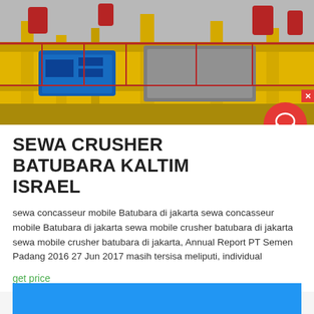[Figure (photo): Industrial machinery photo showing yellow metal framework, blue equipment, and red components — a coal crusher or mining equipment setup.]
SEWA CRUSHER BATUBARA KALTIM ISRAEL
sewa concasseur mobile Batubara di jakarta sewa concasseur mobile Batubara di jakarta sewa mobile crusher batubara di jakarta sewa mobile crusher batubara di jakarta, Annual Report PT Semen Padang 2016 27 Jun 2017 masih tersisa meliputi, individual
get price
[Figure (other): Blue rectangle at bottom of page — partial image or banner.]